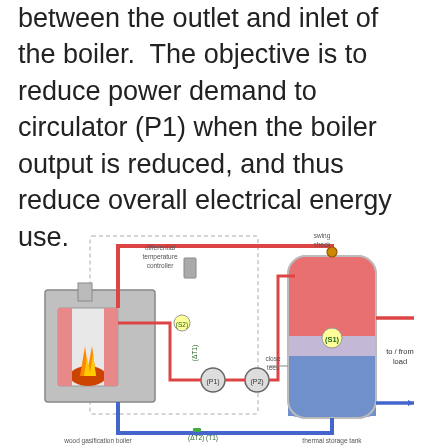between the outlet and inlet of the boiler. The objective is to reduce power demand to circulator (P1) when the boiler output is reduced, and thus reduce overall electrical energy use.
[Figure (schematic): Engineering schematic of a wood gasification boiler connected to a thermal storage tank system. Components labeled include: differential temperature controller, swing check valve, close tees, (S1) sensor on tank, (S2) sensor, (ΔT1) differential temperature, (P1) circulator pump, (P2) pump, (ΔT2) and (T1) sensors, and a to/from load line. The boiler is on the left and the thermal storage tank (cylindrical, showing hot/cold gradient red-to-blue) is on the right, connected by red (hot) and blue (cold) piping.]